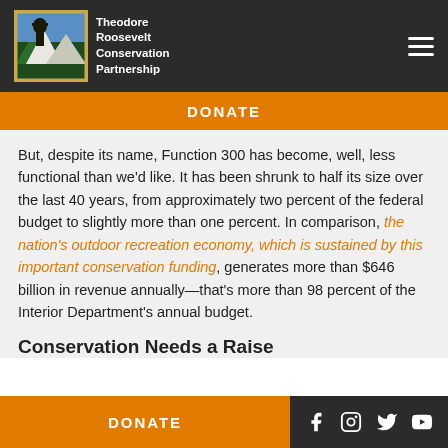Theodore Roosevelt Conservation Partnership
DONATE
But, despite its name, Function 300 has become, well, less functional than we'd like. It has been shrunk to half its size over the last 40 years, from approximately two percent of the federal budget to slightly more than one percent. In comparison, the nation's outdoor recreation economy, which is sustained by this important conservation funding, generates more than $646 billion in revenue annually—that's more than 98 percent of the Interior Department's annual budget.
Conservation Needs a Raise
DONATE | social icons: Facebook, Instagram, Twitter, YouTube